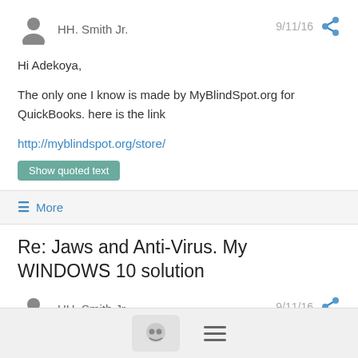HH. Smith Jr.  9/11/16
Hi Adekoya,

The only one I know is made by MyBlindSpot.org for QuickBooks. here is the link

http://myblindspot.org/store/
Show quoted text
≡ More
Re: Jaws and Anti-Virus. My WINDOWS 10 solution
HH. Smith Jr.  9/11/16